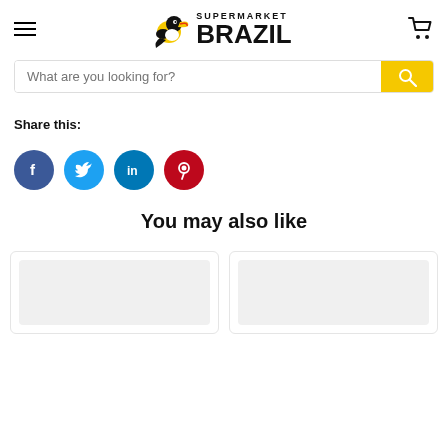Supermarket Brazil
What are you looking for?
Share this:
[Figure (other): Social sharing icons: Facebook (blue circle with f), Twitter (light blue circle with bird), LinkedIn (teal circle with in), Pinterest (red circle with P)]
You may also like
[Figure (other): Two partially visible product card thumbnails with grey placeholder image areas]